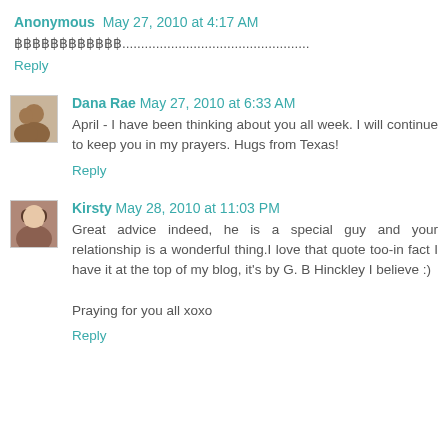Anonymous May 27, 2010 at 4:17 AM
฿฿฿฿฿฿฿฿฿฿฿฿..................................................
Reply
[Figure (photo): Avatar photo of Dana Rae — two people]
Dana Rae May 27, 2010 at 6:33 AM
April - I have been thinking about you all week. I will continue to keep you in my prayers. Hugs from Texas!
Reply
[Figure (photo): Avatar photo of Kirsty — woman portrait]
Kirsty May 28, 2010 at 11:03 PM
Great advice indeed, he is a special guy and your relationship is a wonderful thing.I love that quote too-in fact I have it at the top of my blog, it's by G. B Hinckley I believe :)
Praying for you all xoxo
Reply